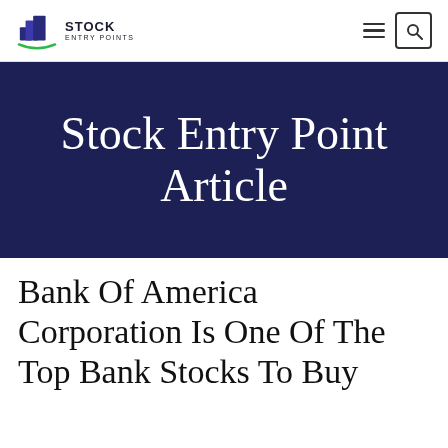STOCK ENTRY POINTS
[Figure (logo): Stock Entry Points logo with stacked blue blocks icon and green arc underline]
Stock Entry Point Article
Bank Of America Corporation Is One Of The Top Bank Stocks To Buy